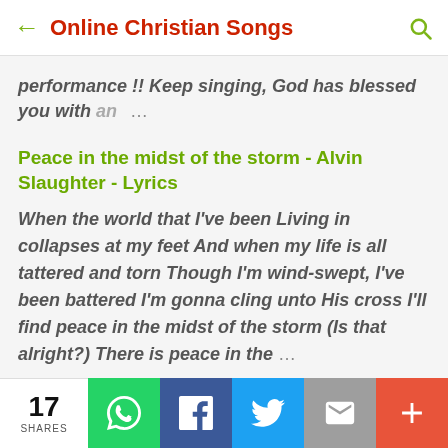Online Christian Songs
performance !! Keep singing, God has blessed you with an …
Peace in the midst of the storm - Alvin Slaughter - Lyrics
When the world that I've been Living in collapses at my feet And when my life is all tattered and torn Though I'm wind-swept, I've been battered I'm gonna cling unto His cross I'll find peace in the midst of the storm (Is that alright?) There is peace in the …
[Figure (photo): Dark video thumbnail showing a person in low-light setting]
17 SHARES